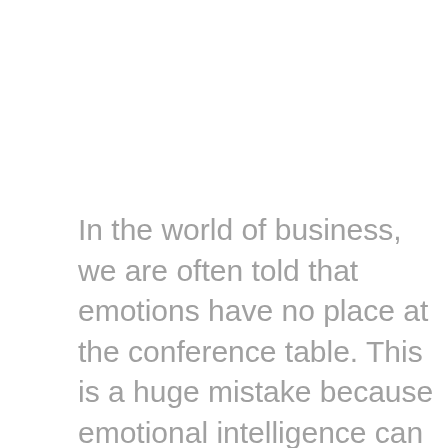In the world of business, we are often told that emotions have no place at the conference table. This is a huge mistake because emotional intelligence can help you connect with co-workers, close business deals and more effectively accomplish your goals.
So what does it mean to be emotionally intelligent? Should you start weeping during conference calls